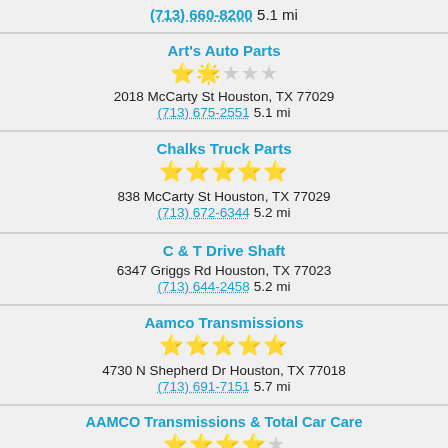(713) 660-8200 5.1 mi
Art's Auto Parts
★☆☆☆☆
2018 McCarty St Houston, TX 77029
(713) 675-2551 5.1 mi
Chalks Truck Parts
★★★★★
838 McCarty St Houston, TX 77029
(713) 672-6344 5.2 mi
C & T Drive Shaft
6347 Griggs Rd Houston, TX 77023
(713) 644-2458 5.2 mi
Aamco Transmissions
★★★★★
4730 N Shepherd Dr Houston, TX 77018
(713) 691-7151 5.7 mi
AAMCO Transmissions & Total Car Care
★★★★☆